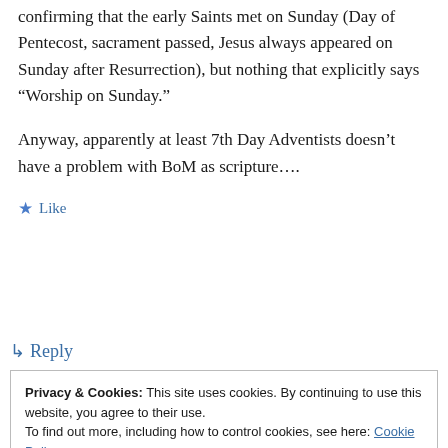confirming that the early Saints met on Sunday (Day of Pentecost, sacrament passed, Jesus always appeared on Sunday after Resurrection), but nothing that explicitly says “Worship on Sunday.”
Anyway, apparently at least 7th Day Adventists doesn’t have a problem with BoM as scripture….
★ Like
↳ Reply
Privacy & Cookies: This site uses cookies. By continuing to use this website, you agree to their use.
To find out more, including how to control cookies, see here: Cookie Policy
Close and accept